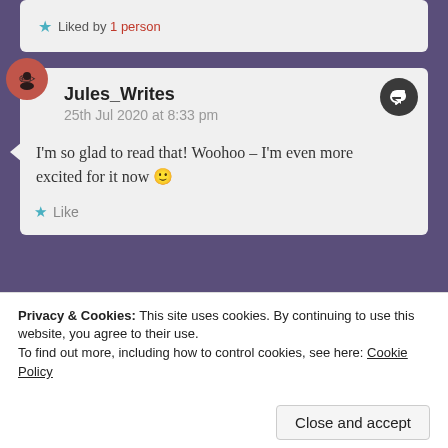Liked by 1 person
Jules_Writes
25th Jul 2020 at 8:33 pm
I'm so glad to read that! Woohoo – I'm even more excited for it now 🙂
Like
MrsDMVH
14th Jul 2020 at 8:28 pm
Privacy & Cookies: This site uses cookies. By continuing to use this website, you agree to their use.
To find out more, including how to control cookies, see here: Cookie Policy
Close and accept